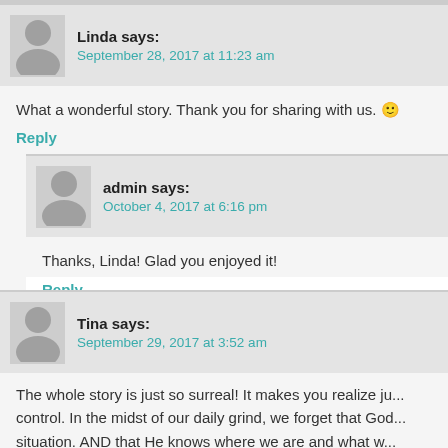Linda says:
September 28, 2017 at 11:23 am
What a wonderful story. Thank you for sharing with us. 🙂
Reply
admin says:
October 4, 2017 at 6:16 pm
Thanks, Linda! Glad you enjoyed it!
Reply
Tina says:
September 29, 2017 at 3:52 am
The whole story is just so surreal! It makes you realize ju... control. In the midst of our daily grind, we forget that God... situation. AND that He knows where we are and what w...